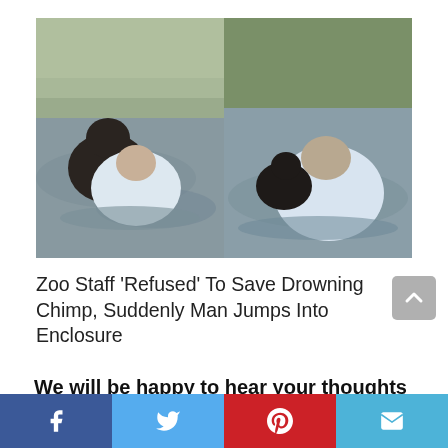[Figure (photo): Two side-by-side video stills showing a man in a white shirt in water with a chimpanzee, rescuing it from drowning in a zoo enclosure.]
Zoo Staff ‘Refused’ To Save Drowning Chimp, Suddenly Man Jumps Into Enclosure
We will be happy to hear your thoughts
[Figure (infographic): Social media sharing bar with Facebook, Twitter, Pinterest, and email icons.]